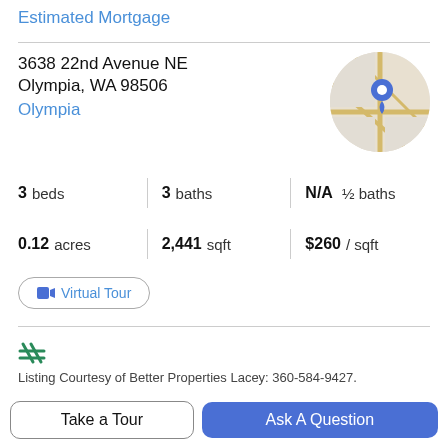Estimated Mortgage
3638 22nd Avenue NE
Olympia, WA 98506
Olympia
[Figure (map): Circular map thumbnail showing a location pin (blue) on a street map of the property area]
3 beds   3 baths   N/A ½ baths
0.12 acres   2,441 sqft   $260 / sqft
Virtual Tour
[Figure (logo): Green tally/hashtag-style logo icon for the listing agency]
Listing Courtesy of Better Properties Lacey: 360-584-9427.
Property Description
Take a Tour
Ask A Question